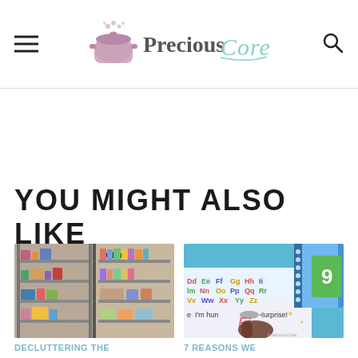Precious Core
YOU MIGHT ALSO LIKE
[Figure (photo): Before and after photo of a cluttered shelf being organized, labeled 'After' on the right side]
DECLUTTERING THE
[Figure (photo): Educational alphabet mat and number flashcard with a child's hand pointing, showing letters and 'I'm hun... urprise!' text]
7 REASONS WE